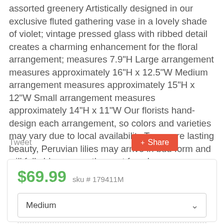assorted greenery Artistically designed in our exclusive fluted gathering vase in a lovely shade of violet; vintage pressed glass with ribbed detail creates a charming enhancement for the floral arrangement; measures 7.9"H Large arrangement measures approximately 16"H x 12.5"W Medium arrangement measures approximately 15"H x 12"W Small arrangement measures approximately 14"H x 11"W Our florists hand-design each arrangement, so colors and varieties may vary due to local availability To ensure lasting beauty, Peruvian lilies may arrive in bud form and will fully bloom over the next few days
Tweet
Share
$69.99  sku # 179411M
Medium
Order by 2:00 PM EST for same day pickup or delivery!